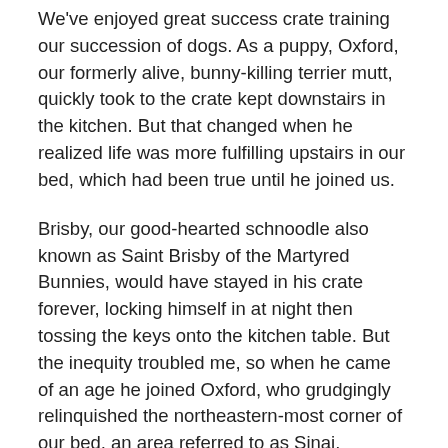We've enjoyed great success crate training our succession of dogs. As a puppy, Oxford, our formerly alive, bunny-killing terrier mutt, quickly took to the crate kept downstairs in the kitchen. But that changed when he realized life was more fulfilling upstairs in our bed, which had been true until he joined us.
Brisby, our good-hearted schnoodle also known as Saint Brisby of the Martyred Bunnies, would have stayed in his crate forever, locking himself in at night then tossing the keys onto the kitchen table. But the inequity troubled me, so when he came of an age he joined Oxford, who grudgingly relinquished the northeastern-most corner of our bed, an area referred to as Sinai.
With Budleigh, our year-old rescue dog who chiefly is constructed of bits and pieces from unpopular terrier